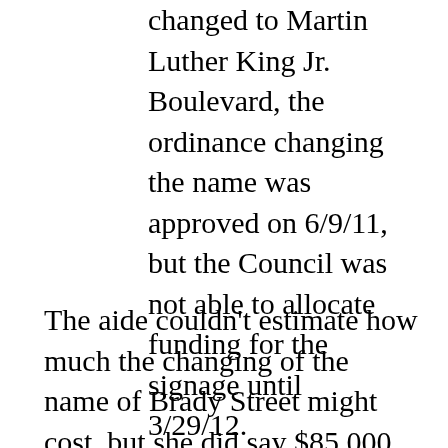changed to Martin Luther King Jr. Boulevard, the ordinance changing the name was approved on 6/9/11, but the Council was not able to allocate funding for the signage until 3/29/12.
The aide couldn't estimate how much the changing of the name of Brady Street might cost, but she did say $85,000 was allocated to change the name of Cincinnati Avenue to Martin Luther King Jr. Boulevard from East Archer Street to East 66th Street North. In a district that has received over $25 million dollars in development in recent years, the cost of changing the Brady name seems insignificant. It's also worth noting that the taxpayers of Tulsa give approximately $2 million each year to the Metro Chamber of Commerce for